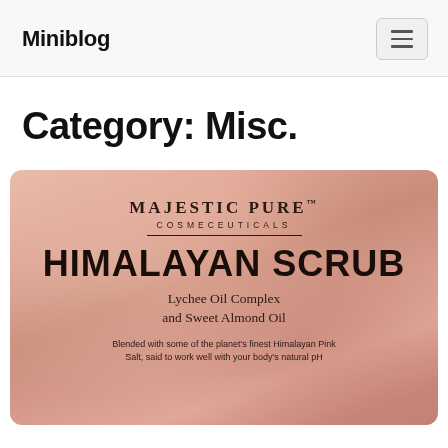Miniblog
Category: Misc.
[Figure (photo): Product packaging for Majestic Pure Cosmeceuticals Himalayan Scrub with Lychee Oil Complex and Sweet Almond Oil on a pink/rose textured background.]